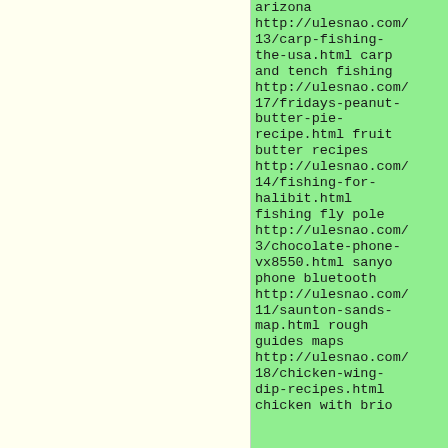arizona http://ulesnao.com/13/carp-fishing-the-usa.html carp and tench fishing http://ulesnao.com/17/fridays-peanut-butter-pie-recipe.html fruit butter recipes http://ulesnao.com/14/fishing-for-halibit.html fishing fly pole http://ulesnao.com/3/chocolate-phone-vx8550.html sanyo phone bluetooth http://ulesnao.com/11/saunton-sands-map.html rough guides maps http://ulesnao.com/18/chicken-wing-dip-recipes.html chicken with brio